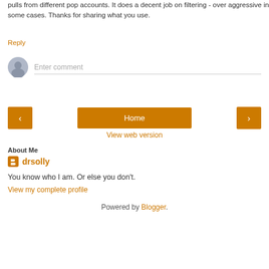pulls from different pop accounts. It does a decent job on filtering - over aggressive in some cases. Thanks for sharing what you use.
Reply
[Figure (other): Comment input area with avatar and 'Enter comment' placeholder text]
[Figure (other): Navigation bar with left arrow button, Home button, right arrow button]
View web version
About Me
drsolly
You know who I am. Or else you don't.
View my complete profile
Powered by Blogger.